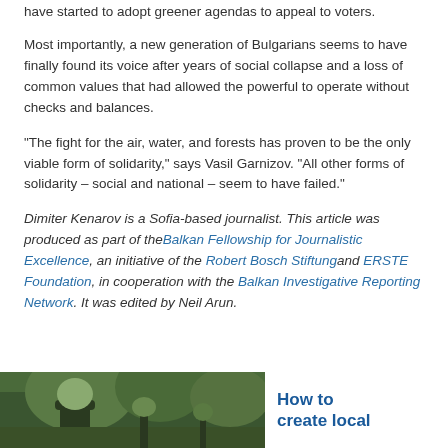have started to adopt greener agendas to appeal to voters.
Most importantly, a new generation of Bulgarians seems to have finally found its voice after years of social collapse and a loss of common values that had allowed the powerful to operate without checks and balances.
“The fight for the air, water, and forests has proven to be the only viable form of solidarity,” says Vasil Garnizov. “All other forms of solidarity – social and national – seem to have failed.”
Dimiter Kenarov is a Sofia-based journalist. This article was produced as part of the Balkan Fellowship for Journalistic Excellence, an initiative of the Robert Bosch Stiftung and ERSTE Foundation, in cooperation with the Balkan Investigative Reporting Network. It was edited by Neil Arun.
[Figure (photo): Photograph of a person outdoors with trees in the background]
How to create local